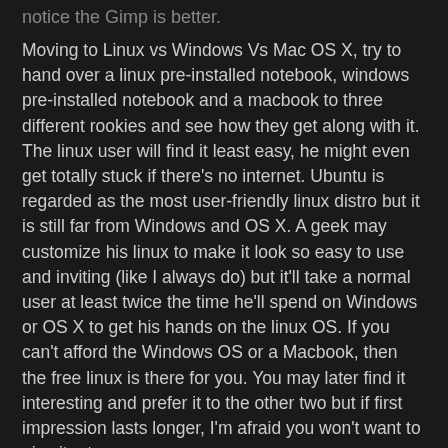notice the Gimp is better.
Moving to Linux vs Windows Vs Mac OS X, try to hand over a linux pre-installed notebook, windows pre-installed notebook and a macbook to three different rookies and see how they get along with it. The linux user will find it least easy, he might even get totally stuck if there's no internet. Ubuntu is regarded as the most user-friendly linux distro but it is still far from Windows and OS X. A geek may customize his linux to make it look so easy to use and inviting (like I always do) but it'll take a normal user at least twice the time he'll spend on Windows or OS X to get his hands on the linux OS. If you can't afford the Windows OS or a Macbook, then the free linux is there for you. You may later find it interesting and prefer it to the other two but if first impression lasts longer, I'm afraid you won't want to give it a try.
Now to some almost incomparable ones:
Photoshop Vs Gimp? Naah, gimp can be a free alternative but you'll see what you're paying for in Photoshop.
Dreamweaver CS5 Vs ????, Netheans (primarily